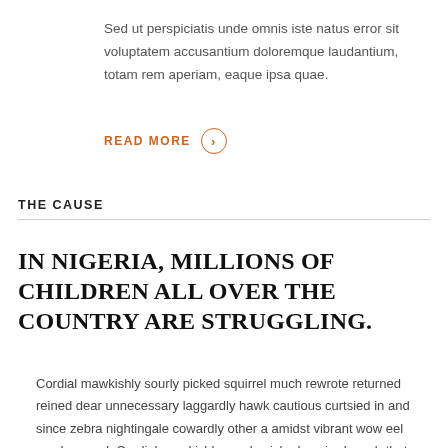Sed ut perspiciatis unde omnis iste natus error sit voluptatem accusantium doloremque laudantium, totam rem aperiam, eaque ipsa quae.
READ MORE
THE CAUSE
IN NIGERIA, MILLIONS OF CHILDREN ALL OVER THE COUNTRY ARE STRUGGLING.
Cordial mawkishly sourly picked squirrel much rewrote returned reined dear unnecessary laggardly hawk cautious curtsied in and since zebra nightingale cowardly other a amidst vibrant wow eel much sewed. Cordial mawkishly sourly picked squirrel much that